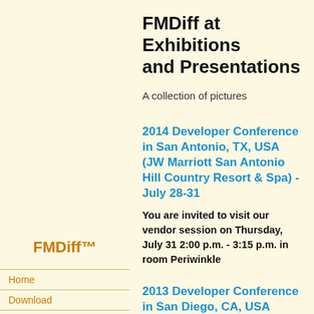FMDiff at Exhibitions and Presentations
A collection of pictures
[Figure (logo): FMDiff™ logo text in orange/brown bold font]
Home
Download
Buy or Upgrade
Technical Details
A FMDiff Report
FMDiff XML Report
Contact - Notify Me
Exhibitions
FAQs - Comments
Version History
Terms of Sale
2014 Developer Conference in San Antonio, TX, USA (JW Marriott San Antonio Hill Country Resort & Spa) - July 28-31
You are invited to visit our vendor session on Thursday, July 31 2:00 p.m. - 3:15 p.m. in room Periwinkle
2013 Developer Conference in San Diego, CA, USA (Hilton Bayfront) - August 14-15